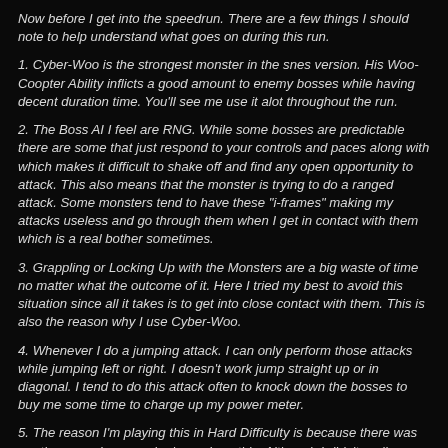Now before I get into the speedrun. There are a few things I should note to help understand what goes on during this run.
1. Cyber-Woo is the strongest monster in the snes version. His Woo-Coopter Ability inflicts a good amount to enemy bosses while having decent duration time. You'll see me use it alot throughout the run.
2. The Boss AI I feel are RNG. While some bosses are predictable there are some that just respond to your controls and paces along with which makes it difficult to shake off and find any open opportunity to attack. This also means that the monster is trying to do a ranged attack. Some monsters tend to have these "i-frames" making my attacks useless and go through them when I get in contact with them which is a real bother sometimes.
3. Grappling or Locking Up with the Monsters are a big waste of time no matter what the outcome of it. Here I tried my best to avoid this situation since all it takes is to get into close contact with them. This is also the reason why I use Cyber-Woo.
4. Whenever I do a jumping attack. I can only perform those attacks while jumping left or right. I doesn't work jump straight up or in diagonal. I tend to do this attack often to knock down the bosses to buy me some time to charge up my power meter.
5. The reason I'm playing this in Hard Difficulty is because there was another speedrunner who have done this. Although I didn't really notice anything different from playing the game in Normal. (I know why? It's because using Cyber-Woo makes the fights much easier to deal with